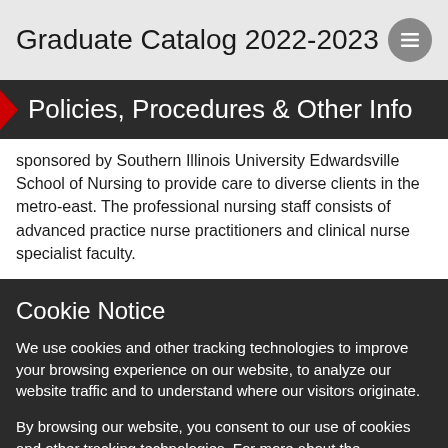Graduate Catalog 2022-2023
Policies, Procedures & Other Info
sponsored by Southern Illinois University Edwardsville School of Nursing to provide care to diverse clients in the metro-east. The professional nursing staff consists of advanced practice nurse practitioners and clinical nurse specialist faculty.
Cookie Notice
We use cookies and other tracking technologies to improve your browsing experience on our website, to analyze our website traffic and to understand where our visitors originate.
By browsing our website, you consent to our use of cookies and other tracking technologies. For more about the information SIUE collects, visit our Web Privacy Notice.